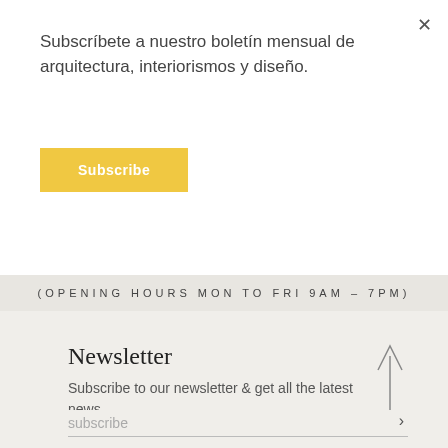Subscríbete a nuestro boletín mensual de arquitectura, interiorismos y diseño.
Subscribe
(OPENING HOURS MON TO FRI 9AM – 7PM)
Newsletter
Subscribe to our newsletter & get all the latest news.
subscribe